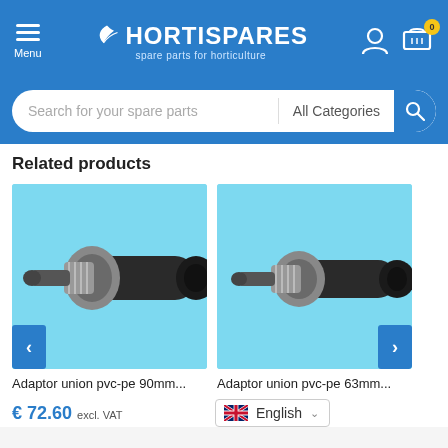HORTISPARES - spare parts for horticulture
Search for your spare parts | All Categories
Related products
[Figure (photo): Adaptor union pvc-pe 90mm fitting, grey and black pipe connector on light blue background]
[Figure (photo): Adaptor union pvc-pe 63mm fitting, grey and black pipe connector on light blue background]
Adaptor union pvc-pe 90mm...
Adaptor union pvc-pe 63mm...
€ 72.60 excl. VAT
English